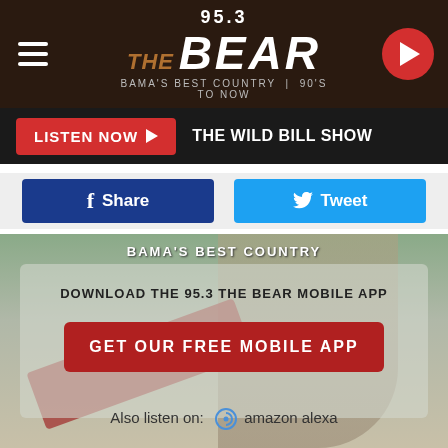95.3 THE BEAR — BAMA'S BEST COUNTRY | 90'S TO NOW
LISTEN NOW ▶  THE WILD BILL SHOW
Share  |  Tweet
[Figure (screenshot): App promotion banner showing a woman leaning out of a car sunroof with overlaid text: DOWNLOAD THE 95.3 THE BEAR MOBILE APP, GET OUR FREE MOBILE APP button, Also listen on: amazon alexa]